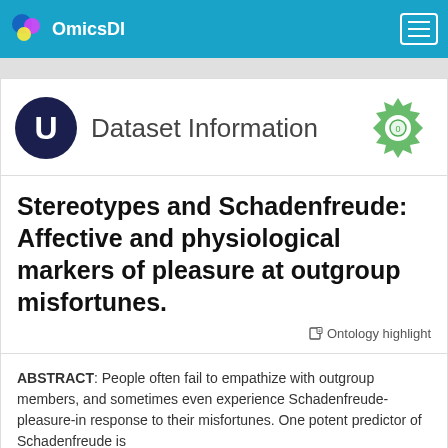OmicsDI
Dataset Information
Stereotypes and Schadenfreude: Affective and physiological markers of pleasure at outgroup misfortunes.
Ontology highlight
ABSTRACT: People often fail to empathize with outgroup members, and sometimes even experience Schadenfreude-pleasure-in response to their misfortunes. One potent predictor of Schadenfreude is...